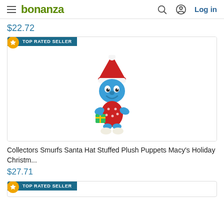bonanza — Log in
$22.72
[Figure (photo): Collectors Smurfs Santa Hat Stuffed Plush Puppets Macy's Holiday Christmas toy — blue Smurf character wearing red Santa hat and holiday outfit, holding a small present. TOP RATED SELLER badge in top-left corner.]
Collectors Smurfs Santa Hat Stuffed Plush Puppets Macy's Holiday Christm...
$27.71
[Figure (photo): Second product card, partially visible, with TOP RATED SELLER badge.]